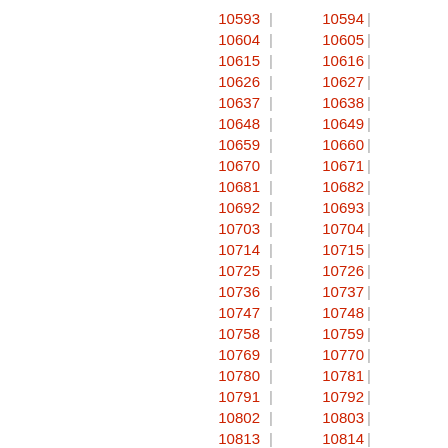| 10593 | 10594 |
| 10604 | 10605 |
| 10615 | 10616 |
| 10626 | 10627 |
| 10637 | 10638 |
| 10648 | 10649 |
| 10659 | 10660 |
| 10670 | 10671 |
| 10681 | 10682 |
| 10692 | 10693 |
| 10703 | 10704 |
| 10714 | 10715 |
| 10725 | 10726 |
| 10736 | 10737 |
| 10747 | 10748 |
| 10758 | 10759 |
| 10769 | 10770 |
| 10780 | 10781 |
| 10791 | 10792 |
| 10802 | 10803 |
| 10813 | 10814 |